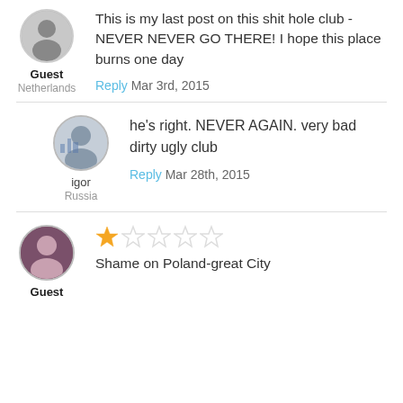Guest
Netherlands
This is my last post on this shit hole club - NEVER NEVER GO THERE! I hope this place burns one day
Reply Mar 3rd, 2015
igor
Russia
he's right. NEVER AGAIN. very bad dirty ugly club
Reply Mar 28th, 2015
Guest
[Figure (other): 1 out of 5 stars rating]
Shame on Poland-great City